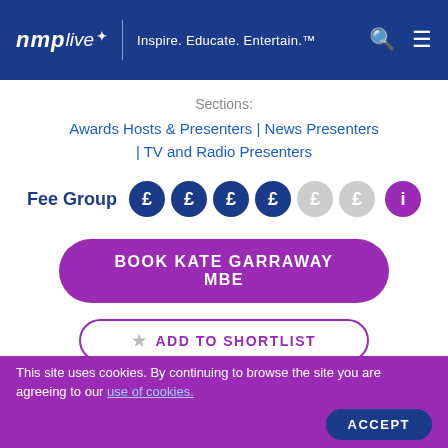nmp live | Inspire. Educate. Entertain.
Sections:
Awards Hosts & Presenters | News Presenters | TV and Radio Presenters
Fee Group ££££ (££ inactive) i
BOOK KATE GARRAWAY MBE
ADD TO SHORTLIST
About
This site uses cookies. By continuing to browse the site you are agreeing to our use of cookies.
ACCEPT